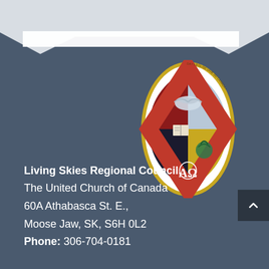[Figure (logo): United Church of Canada crest/shield logo in oval vesica shape with gold border, divided quarters showing dove, open book, burning bush, and Alpha-Omega symbol]
Living Skies Regional Council,
The United Church of Canada
60A Athabasca St. E.,
Moose Jaw, SK, S6H 0L2
Phone: 306-704-0181